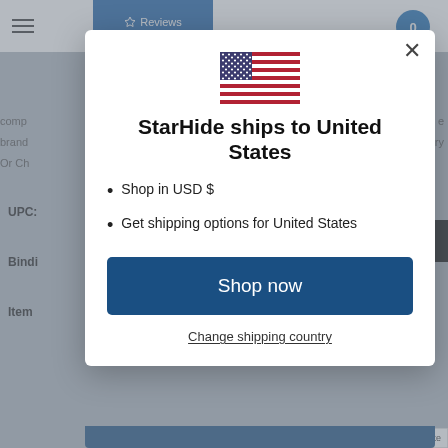[Figure (screenshot): E-commerce website screenshot showing a modal dialog. The modal displays: US flag, title 'StarHide ships to United States', bullet points 'Shop in USD $' and 'Get shipping options for United States', a 'Shop now' button, and a 'Change shipping country' link. Background shows partially visible product page with navigation bar, hamburger menu, cart icon, UPC label, Binding label, Item label, back-to-top button, and TrustedSite badge.]